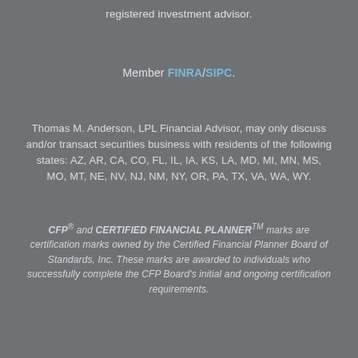registered investment advisor.
Member FINRA/SIPC.
Thomas M. Anderson, LPL Financial Advisor, may only discuss and/or transact securities business with residents of the following states: AZ, AR, CA, CO, FL, IL, IA, KS, LA, MD, MI, MN, MS, MO, MT, NE, NV, NJ, NM, NY, OR, PA, TX, VA, WA, WY.
CFP® and CERTIFIED FINANCIAL PLANNER™ marks are certification marks owned by the Certified Financial Planner Board of Standards, Inc. These marks are awarded to individuals who successfully complete the CFP Board's initial and ongoing certification requirements.